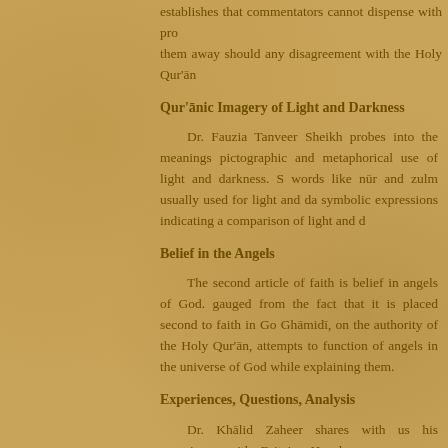establishes that commentators cannot dispense with pro them away should any disagreement with the Holy Qur'ān
Qur'ānic Imagery of Light and Darkness
Dr. Fauzia Tanveer Sheikh probes into the meanings pictographic and metaphorical use of light and darkness. S words like nūr and zulm usually used for light and da symbolic expressions indicating a comparison of light and d
Belief in the Angels
The second article of faith is belief in angels of God. gauged from the fact that it is placed second to faith in Go Ghāmidī, on the authority of the Holy Qur'ān, attempts to function of angels in the universe of God while explaining them.
Experiences, Questions, Analysis
Dr. Khālid Zaheer shares with us his experience with Britain. He draws some very important conclusions out of some time to think about them.
Islam: A Concise Introduction